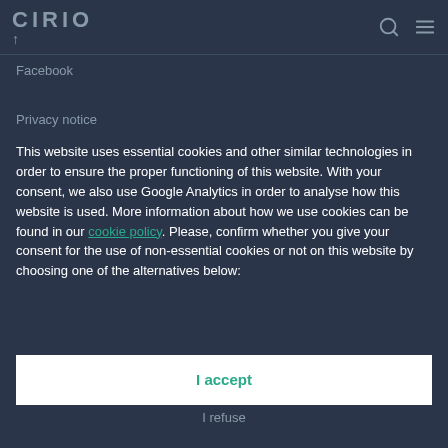CIRIO ↑ [search icon] [menu icon]
Facebook
Privacy notice
This website uses essential cookies and other similar technologies in order to ensure the proper functioning of this website. With your consent, we also use Google Analytics in order to analyse how this website is used. More information about how we use cookies can be found in our cookie policy. Please, confirm whether you give your consent for the use of non-essential cookies or not on this website by choosing one of the alternatives below:
I accept
I refuse